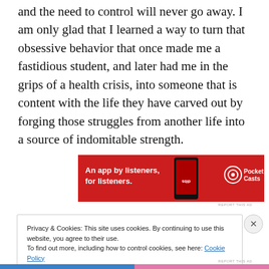and the need to control will never go away. I am only glad that I learned a way to turn that obsessive behavior that once made me a fastidious student, and later had me in the grips of a health crisis, into someone that is content with the life they have carved out by forging those struggles from another life into a source of indomitable strength.
[Figure (other): Pocket Casts advertisement banner: red background, text 'An app by listeners, for listeners.' with a phone graphic and Pocket Casts logo]
Privacy & Cookies: This site uses cookies. By continuing to use this website, you agree to their use.
To find out more, including how to control cookies, see here: Cookie Policy
Close and accept